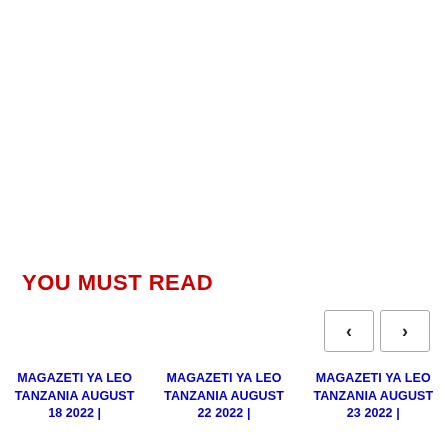YOU MUST READ
MAGAZETI YA LEO TANZANIA AUGUST 18 2022 |
MAGAZETI YA LEO TANZANIA AUGUST 22 2022 |
MAGAZETI YA LEO TANZANIA AUGUST 23 2022 |